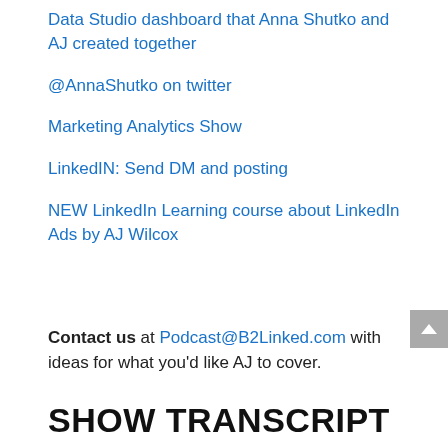Data Studio dashboard that Anna Shutko and AJ created together
@AnnaShutko on twitter
Marketing Analytics Show
LinkedIN: Send DM and posting
NEW LinkedIn Learning course about LinkedIn Ads by AJ Wilcox
Contact us at Podcast@B2Linked.com with ideas for what you'd like AJ to cover.
SHOW TRANSCRIPT